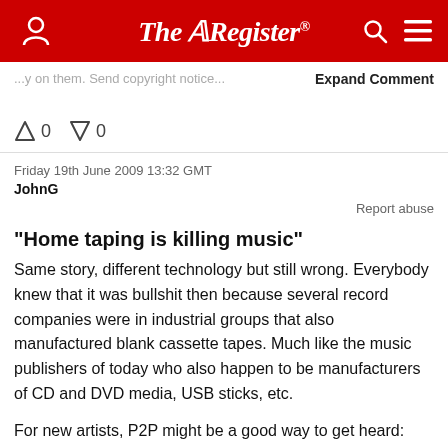The Register
...around on them. Send copyright notice...
Expand Comment
0  0
Friday 19th June 2009 13:32 GMT
JohnG
Report abuse
"Home taping is killing music"
Same story, different technology but still wrong. Everybody knew that it was bullshit then because several record companies were in industrial groups that also manufactured blank cassette tapes. Much like the music publishers of today who also happen to be manufacturers of CD and DVD media, USB sticks, etc.
For new artists, P2P might be a good way to get heard: share your own track with the correct track title but